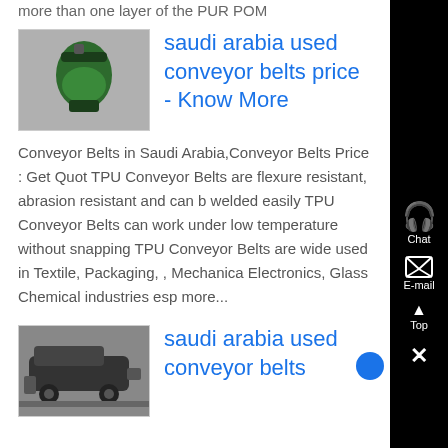more than one layer of the PUR POM
[Figure (photo): Small thumbnail image of an industrial green machine/tank]
saudi arabia used conveyor belts price - Know More
Conveyor Belts in Saudi Arabia,Conveyor Belts Price : Get Quot TPU Conveyor Belts are flexure resistant, abrasion resistant and can b welded easily TPU Conveyor Belts can work under low temperature without snapping TPU Conveyor Belts are wide used in Textile, Packaging, , Mechanical Electronics, Glass Chemical industries esp more...
[Figure (photo): Small thumbnail image of an industrial train/locomotive]
saudi arabia used conveyor belts